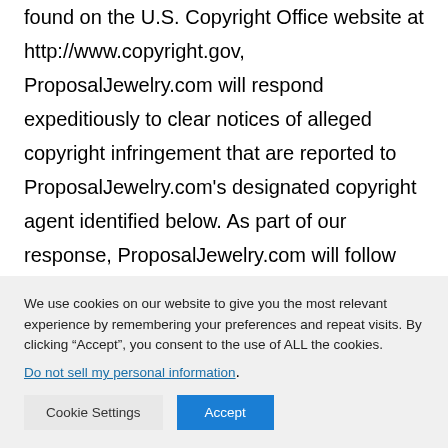found on the U.S. Copyright Office website at http://www.copyright.gov, ProposalJewelry.com will respond expeditiously to clear notices of alleged copyright infringement that are reported to ProposalJewelry.com's designated copyright agent identified below. As part of our response, ProposalJewelry.com will follow the procedures outlined herein and in the DMCA, and we may remove
We use cookies on our website to give you the most relevant experience by remembering your preferences and repeat visits. By clicking “Accept”, you consent to the use of ALL the cookies.
Do not sell my personal information.
Cookie Settings   Accept